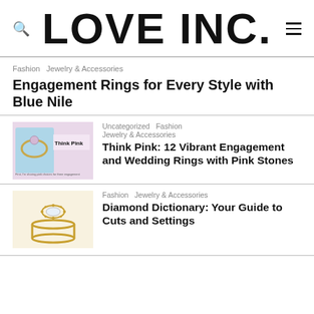LOVE INC.
Fashion  Jewelry & Accessories
Engagement Rings for Every Style with Blue Nile
Uncategorized  Fashion  Jewelry & Accessories
[Figure (photo): Photo of pink engagement ring box with text 'Think Pink']
Think Pink: 12 Vibrant Engagement and Wedding Rings with Pink Stones
Fashion  Jewelry & Accessories
[Figure (photo): Photo of a gold marquise diamond ring with halo setting]
Diamond Dictionary: Your Guide to Cuts and Settings